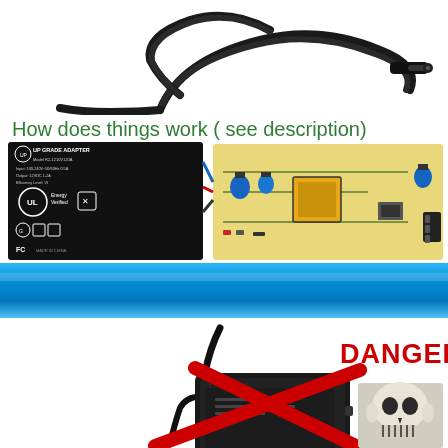[Figure (photo): Black power adapter cable with DC barrel connector tip, coiled on white background]
How does things work ( see description)
[Figure (photo): Left: Black power adapter label showing UP GRADE ADAPTER, model R2-1210V120A, with UL Energy Verified and FC certifications. Right: Green circuit board with electronic components (capacitors, transformer, transistors).]
[Figure (photo): Blue gradient banner/divider strip]
[Figure (photo): Black rectangular AC power adapter/brick with cable, overlaid with a large red X cross indicating danger. Text 'DANGER' in red at upper right. Skull image at lower right.]